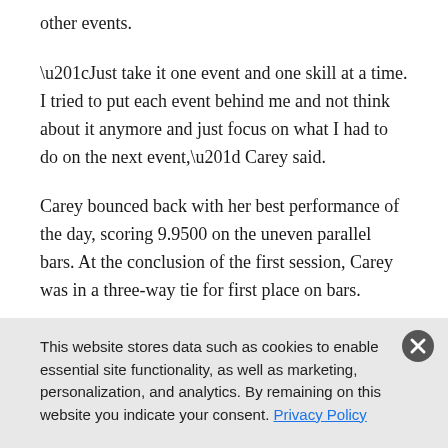other events.
“Just take it one event and one skill at a time. I tried to put each event behind me and not think about it anymore and just focus on what I had to do on the next event,” Carey said.
Carey bounced back with her best performance of the day, scoring 9.9500 on the uneven parallel bars. At the conclusion of the first session, Carey was in a three-way tie for first place on bars.
This website stores data such as cookies to enable essential site functionality, as well as marketing, personalization, and analytics. By remaining on this website you indicate your consent. Privacy Policy